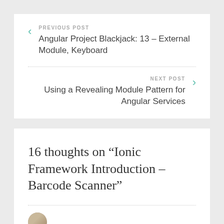PREVIOUS POST
Angular Project Blackjack: 13 – External Module, Keyboard
NEXT POST
Using a Revealing Module Pattern for Angular Services
16 thoughts on “Ionic Framework Introduction – Barcode Scanner”